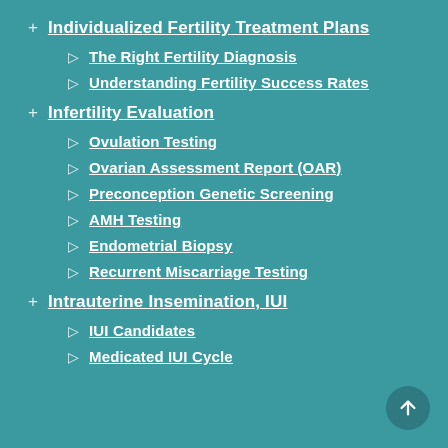+ Individualized Fertility Treatment Plans
▷ The Right Fertility Diagnosis
▷ Understanding Fertility Success Rates
+ Infertility Evaluation
▷ Ovulation Testing
▷ Ovarian Assessment Report (OAR)
▷ Preconception Genetic Screening
▷ AMH Testing
▷ Endometrial Biopsy
▷ Recurrent Miscarriage Testing
+ Intrauterine Insemination, IUI
▷ IUI Candidates
▷ Medicated IUI Cycle